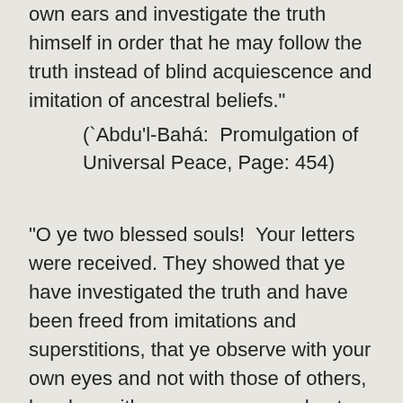own ears and investigate the truth himself in order that he may follow the truth instead of blind acquiescence and imitation of ancestral beliefs."
(`Abdu'l-Bahá:  Promulgation of Universal Peace, Page: 454)
"O ye two blessed souls!  Your letters were received. They showed that ye have investigated the truth and have been freed from imitations and superstitions, that ye observe with your own eyes and not with those of others, hearken with your own ears and not with the ears of others, and discover mysteries with the help of your own consciences and not with those of others. For the imitator saith that such a man hath seen, such a man hath heard, and such a conscience hath discovered; in other words he dependeth upon the